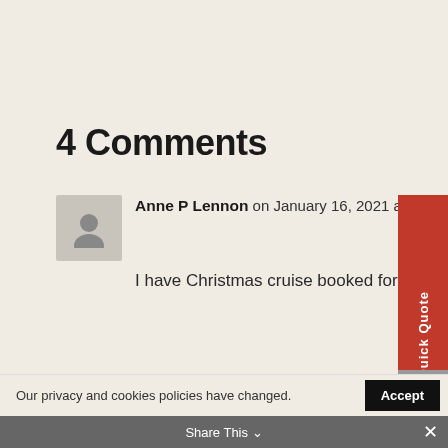4 Comments
Anne P Lennon on January 16, 2021 at 10:59 pm
I have Christmas cruise booked for 2021 . Looking forward tonit.
Reply
Quick Quote
Our privacy and cookies policies have changed.
Accept
Click here to view our Privacy Policy.
Share This